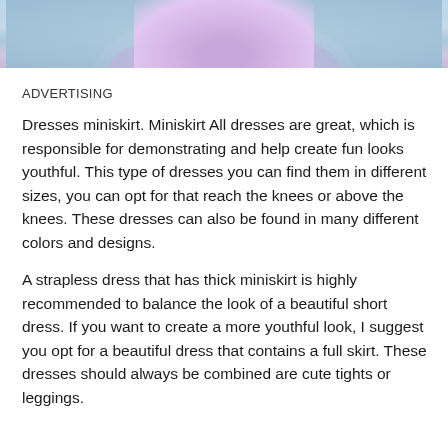[Figure (photo): Top portion of a photo showing a light blue background with a purple/lavender ruffled dress or skirt fabric visible at the bottom of the frame.]
ADVERTISING
Dresses miniskirt. Miniskirt All dresses are great, which is responsible for demonstrating and help create fun looks youthful. This type of dresses you can find them in different sizes, you can opt for that reach the knees or above the knees. These dresses can also be found in many different colors and designs.
A strapless dress that has thick miniskirt is highly recommended to balance the look of a beautiful short dress. If you want to create a more youthful look, I suggest you opt for a beautiful dress that contains a full skirt. These dresses should always be combined are cute tights or leggings.